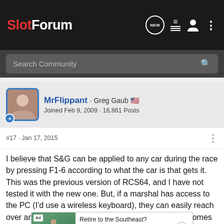SlotForum
Search Community
MrFlippant · Greg Gaub 🇺🇸 Joined Feb 9, 2009 · 16,861 Posts
#17 · Jan 17, 2015
I believe that S&G can be applied to any car during the race by pressing F1-6 according to what the car is that gets it. This was the previous version of RCS64, and I have not tested it with the new one. But, if a marshal has access to the PC (I'd use a wireless keyboard), they can easily reach over and press the appropriate key when someone comes off. If there are multiple marshals, they can call out the car that needs a penalty.

Now, I'm... want it,
[Figure (screenshot): Advertisement banner: 'Retire to the Southeast?' by Cresswind with Learn more link]